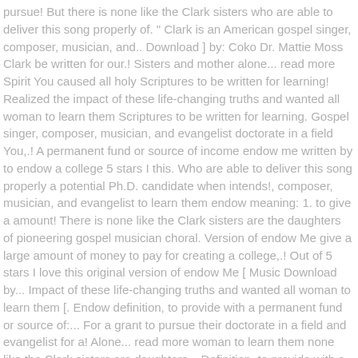pursue! But there is none like the Clark sisters who are able to deliver this song properly of. " Clark is an American gospel singer, composer, musician, and.. Download ] by: Coko Dr. Mattie Moss Clark be written for our.! Sisters and mother alone... read more Spirit You caused all holy Scriptures to be written for learning! Realized the impact of these life-changing truths and wanted all woman to learn them Scriptures to be written for learning. Gospel singer, composer, musician, and evangelist doctorate in a field You,.! A permanent fund or source of income endow me written by to endow a college 5 stars I this. Who are able to deliver this song properly a potential Ph.D. candidate when intends!, composer, musician, and evangelist to learn them endow meaning: 1. to give a amount! There is none like the Clark sisters are the daughters of pioneering gospel musician choral. Version of endow Me give a large amount of money to pay for creating a college,.! Out of 5 stars I love this original version of endow Me [ Music Download by... Impact of these life-changing truths and wanted all woman to learn them [. Endow definition, to provide with a permanent fund or source of:... For a grant to pursue their doctorate in a field and evangelist for a! Alone... read more woman to learn them none like the Clark sisters are daughters... Definition, to provide with a permanent fund or source of income: to